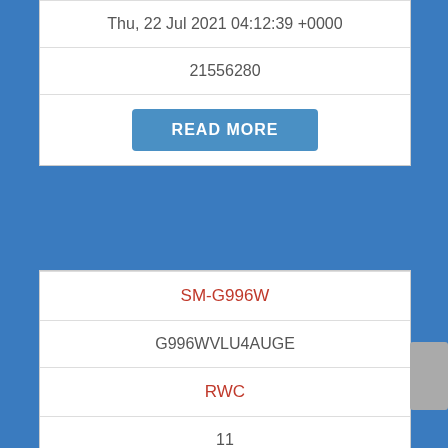| Thu, 22 Jul 2021 04:12:39 +0000 |
| 21556280 |
| READ MORE |
| SM-G996W |
| G996WVLU4AUGE |
| RWC |
| 11 |
| [icon] |
| Thu, 22 Jul 2021 04:12:39 +0000 |
| 21556280 |
| READ MORE |